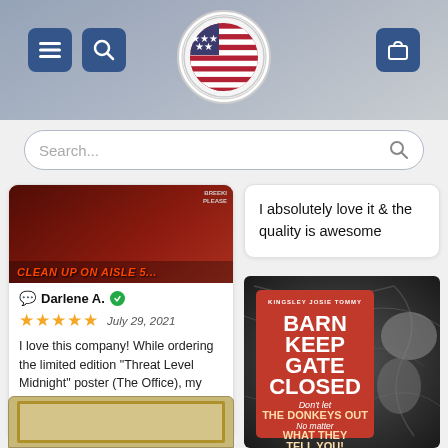[Figure (screenshot): Website header bar with navigation buttons (menu, search, cart) and American flag logo circle in center]
[Figure (screenshot): Search bar with placeholder text 'Search...' and search icon]
[Figure (photo): Movie poster showing 'CLEAN UP ON AISLE 5...' text in orange/red on dark background with figures]
Darlene A. ✓
★★★★★  July 29, 2021
I love this company! While ordering the limited edition "Threat Level Midnight" poster (The Office), my internet went down and I accidentally placed t...More
I absolutely love it & the quality is awesome
[Figure (photo): Red barn sign reading 'KINGSLEY JOSIE TOMMY / BARN KEEP GATE CLOSED / Don't let / THE DONKEYS OUT / No matter / WHAT THEY TELL YOU!' with donkey animal images on dark swirling wood background]
[Figure (photo): Partial bottom image showing framed picture with decorative background]